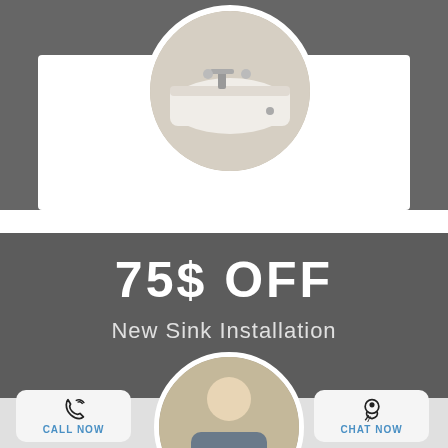[Figure (photo): Circular photo of a white bathtub with faucet hardware, shown on a gray and white background card]
75$ OFF
New Sink Installation
[Figure (photo): Circular photo of a plumber/technician working on a sink installation]
CALL NOW
EMAIL NOW
CHAT NOW